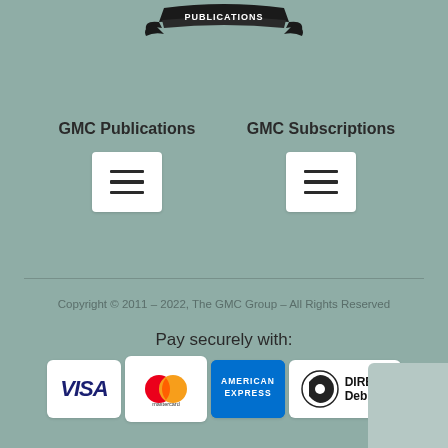[Figure (logo): GMC Publications logo — banner with PUBLICATIONS text and decorative wings]
GMC Publications
[Figure (other): Hamburger menu icon button for GMC Publications]
GMC Subscriptions
[Figure (other): Hamburger menu icon button for GMC Subscriptions]
Copyright © 2011 – 2022, The GMC Group – All Rights Reserved
Pay securely with:
[Figure (other): Payment icons: VISA, Mastercard, American Express, Direct Debit]